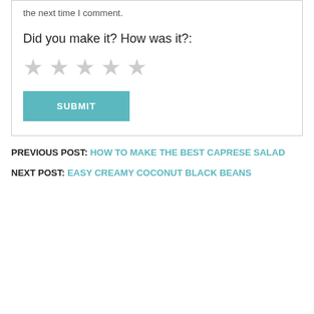the next time I comment.
Did you make it? How was it?:
[Figure (other): Five empty star rating icons in light grey]
[Figure (other): SUBMIT button with teal/cyan background]
PREVIOUS POST: HOW TO MAKE THE BEST CAPRESE SALAD
NEXT POST: EASY CREAMY COCONUT BLACK BEANS